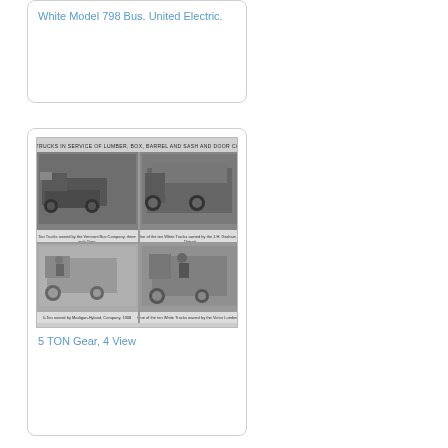White Model 798 Bus. United Electric.
[Figure (photo): Four-panel black and white photograph composite showing 5 TON Gear trucks in service of lumber, box, barrel and sash and door companies. Two top views and two bottom views of early 20th century White trucks.]
5 TON Gear, 4 View